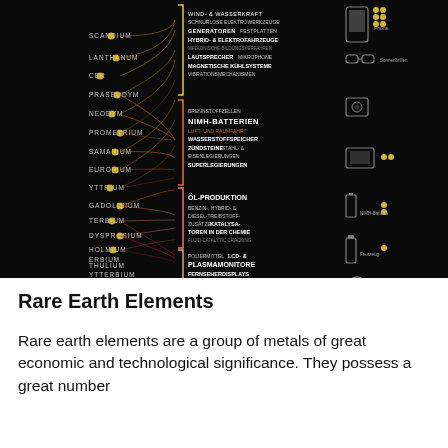[Figure (infographic): Rare earth elements infographic showing connections between lanthanide elements (Scandium, Lanthanum, Cer, Praseodym, Neodym, Prometrium, Samarium, Europium, Yttrium, Gadolinium, Terbium, Dysprosium, Holmium, Erbium, Thulium, Ytterbium, Lutetium) and their industrial applications (wind & water power, generators, hybrid vehicles, speakers, NiMH batteries, fuel cells, oil production, catalytic converters, LCD/plasma monitors, stabilizers, ceramics, defense, nuclear) as well as consumer products (phone, sunglasses, camera, TV/monitor, NiMH battery, aerosol can, headphones, bulletproof vest). Lines flow from left elements through colored category brackets in the center to applications on the right. German language labels throughout.]
Rare Earth Elements
Rare earth elements are a group of metals of great economic and technological significance. They possess a great number